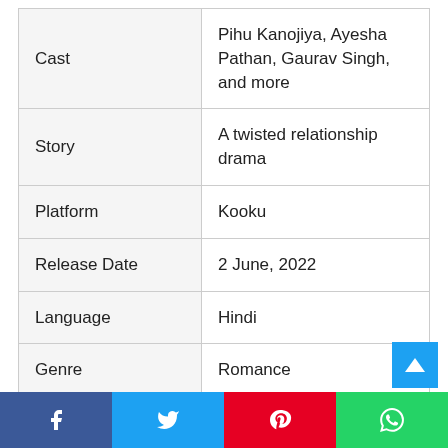| Cast | Pihu Kanojiya, Ayesha Pathan, Gaurav Singh, and more |
| Story | A twisted relationship drama |
| Platform | Kooku |
| Release Date | 2 June, 2022 |
| Language | Hindi |
| Genre | Romance |